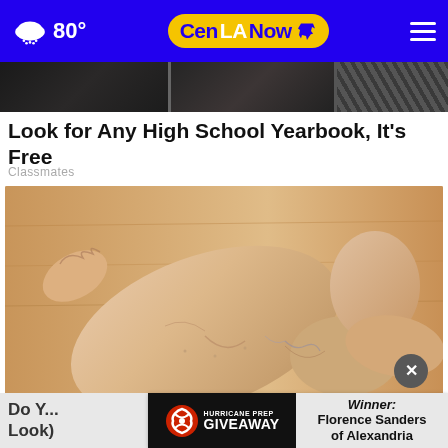80° CenLANow
[Figure (photo): Dark strip of news images at top of article page]
Look for Any High School Yearbook, It's Free
Classmates
[Figure (photo): Close-up photo of a human foot/ankle held in a hand against a wooden floor background]
[Figure (infographic): Hurricane Prep Giveaway advertisement banner with winner: Florence Sanders of Alexandria]
Do Y... a Look)